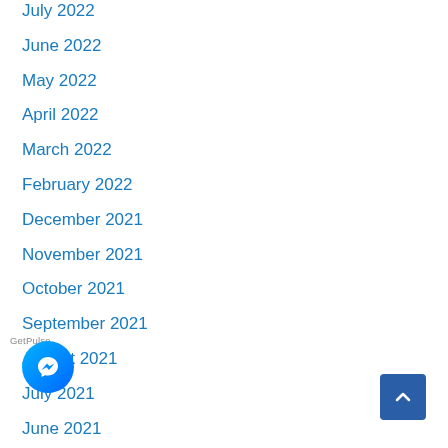July 2022
June 2022
May 2022
April 2022
March 2022
February 2022
December 2021
November 2021
October 2021
September 2021
August 2021
July 2021
June 2021
May 2021
April 2021
[Figure (illustration): Facebook Messenger chat button (blue circle with lightning bolt icon)]
[Figure (illustration): Scroll to top button (dark blue square with upward chevron arrow)]